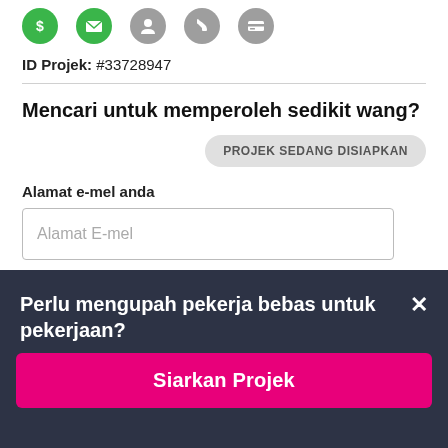[Figure (infographic): Row of 5 icons: green dollar circle, green envelope circle, gray person circle, gray phone circle, gray credit card circle]
ID Projek: #33728947
Mencari untuk memperoleh sedikit wang?
PROJEK SEDANG DISIAPKAN
Alamat e-mel anda
Alamat E-mel
Perlu mengupah pekerja bebas untuk pekerjaan?
Siarkan Projek